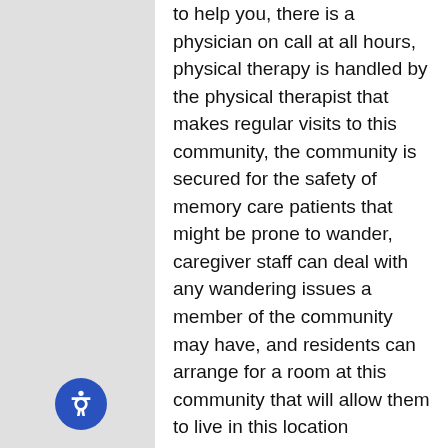to help you, there is a physician on call at all hours, physical therapy is handled by the physical therapist that makes regular visits to this community, the community is secured for the safety of memory care patients that might be prone to wander, caregiver staff can deal with any wandering issues a member of the community may have, and residents can arrange for a room at this community that will allow them to live in this location whatever their healthcare needs are and become.
Park Place Assisted Living
101 FM 971